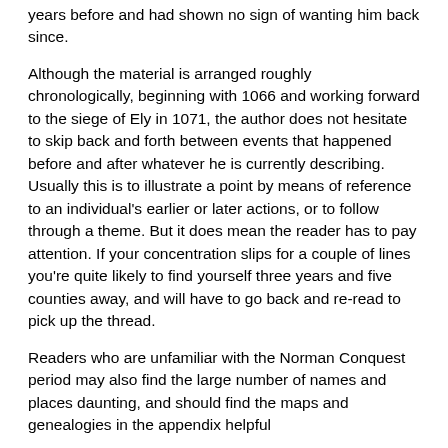years before and had shown no sign of wanting him back since.
Although the material is arranged roughly chronologically, beginning with 1066 and working forward to the siege of Ely in 1071, the author does not hesitate to skip back and forth between events that happened before and after whatever he is currently describing. Usually this is to illustrate a point by means of reference to an individual's earlier or later actions, or to follow through a theme. But it does mean the reader has to pay attention. If your concentration slips for a couple of lines you're quite likely to find yourself three years and five counties away, and will have to go back and re-read to pick up the thread.
Readers who are unfamiliar with the Norman Conquest period may also find the large number of names and places daunting, and should find the maps and genealogies in the appendix helpful
There are lots of little-known (to me, anyway) facts in the book, which make it a delight for anyone interested in the period. For example, there is an excellent discussion on the process by which lands shifted progressively from English to Norman landholders, illustrated by the records of Hereward's (probable) family, which I found the clearest explanation I have so far come across. The author also discusses variations in English and Norman custom - for example, he argues that Norman sheriffs had wider powers than English shire-reeves, and that the English and Norman view of oath-